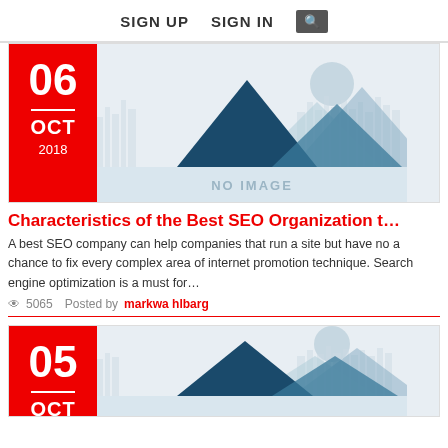SIGN UP   SIGN IN   [search]
[Figure (illustration): Red date block showing 06 OCT 2018 beside a placeholder image with mountain/city skyline illustration and NO IMAGE label]
Characteristics of the Best SEO Organization t…
A best SEO company can help companies that run a site but have no a chance to fix every complex area of internet promotion technique. Search engine optimization is a must for…
👁 5065   Posted by markwa hlbarg
[Figure (illustration): Red date block showing 05 OCT with placeholder mountain/city skyline illustration (partially visible)]